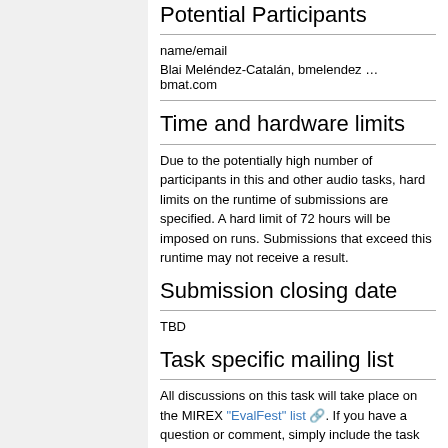Potential Participants
| name/email |
| --- |
| Blai Meléndez-Catalán, bmelendez … bmat.com |
Time and hardware limits
Due to the potentially high number of participants in this and other audio tasks, hard limits on the runtime of submissions are specified. A hard limit of 72 hours will be imposed on runs. Submissions that exceed this runtime may not receive a result.
Submission closing date
TBD
Task specific mailing list
All discussions on this task will take place on the MIREX "EvalFest" list. If you have a question or comment, simply include the task name in the subject heading.